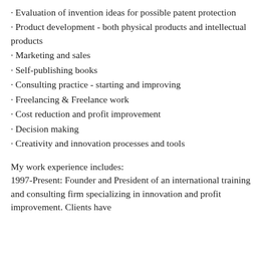· Evaluation of invention ideas for possible patent protection
· Product development - both physical products and intellectual products
· Marketing and sales
· Self-publishing books
· Consulting practice - starting and improving
· Freelancing & Freelance work
· Cost reduction and profit improvement
· Decision making
· Creativity and innovation processes and tools
My work experience includes:
1997-Present: Founder and President of an international training and consulting firm specializing in innovation and profit improvement. Clients have